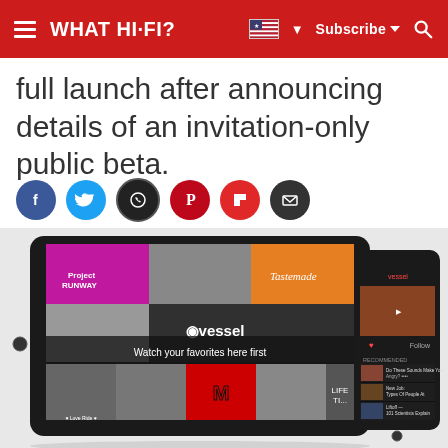WHAT HI-FI? | Subscribe | Search
full launch after announcing details of an invitation-only public beta.
[Figure (other): Row of social media share icons: Facebook (blue), Twitter (light blue), WhatsApp (dark circle), Pinterest (red), Flipboard (red), Email (dark circle)]
[Figure (screenshot): Screenshot of Vessel video streaming app shown on a tablet and a smartphone. The tablet shows a grid of video thumbnails with the text 'Vessel - Watch your favorites here first' overlaid. Channels include Tastemade and Project Runway. The smartphone shows the Vessel mobile app interface with recommended videos.]